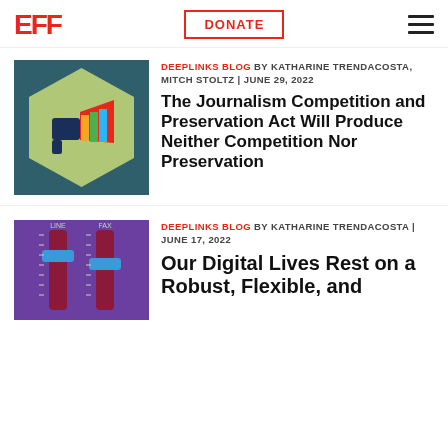EFF | DONATE | Menu
[Figure (illustration): EFF Deeplinks Blog illustration: a megaphone icon on a teal/dark teal hexagon background]
DEEPLINKS BLOG BY KATHARINE TRENDACOSTA, MITCH STOLTZ | JUNE 29, 2022
The Journalism Competition and Preservation Act Will Produce Neither Competition Nor Preservation
[Figure (illustration): EFF Deeplinks Blog illustration: audio level sliders on purple background]
DEEPLINKS BLOG BY KATHARINE TRENDACOSTA | JUNE 17, 2022
Our Digital Lives Rest on a Robust, Flexible, and